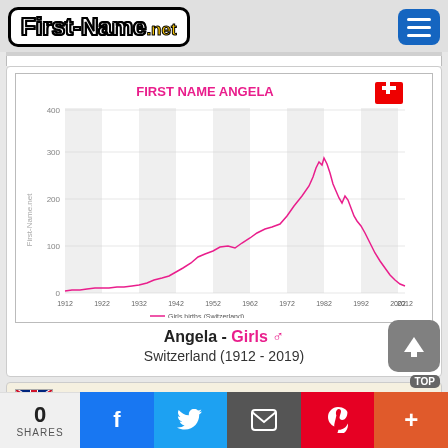First-Name.net
[Figure (line-chart): FIRST NAME ANGELA]
Angela - Girls ♂
Switzerland (1912 - 2019)